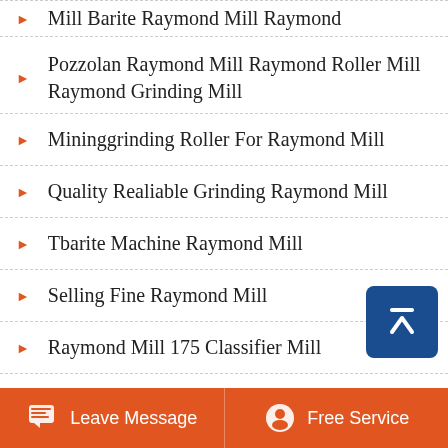Mill Barite Raymond Mill Raymond
Pozzolan Raymond Mill Raymond Roller Mill Raymond Grinding Mill
Mininggrinding Roller For Raymond Mill
Quality Realiable Grinding Raymond Mill
Tbarite Machine Raymond Mill
Selling Fine Raymond Mill
Raymond Mill 175 Classifier Mill
Leave Message   Free Service